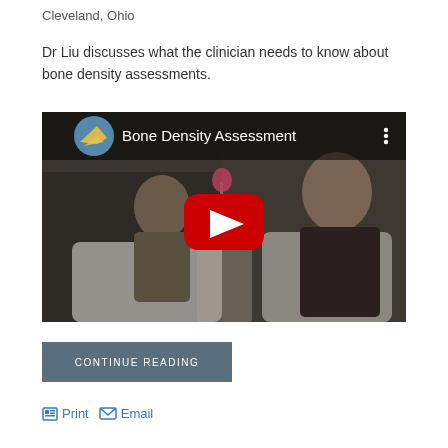Cleveland, Ohio
Dr Liu discusses what the clinician needs to know about bone density assessments.
[Figure (screenshot): YouTube video thumbnail showing two people seated in white chairs in a TV interview setting. The video title reads 'Bone Density Assessment'. A red YouTube play button is overlaid in the center. A circular thumbnail of a sailboat is shown in the top-left corner.]
CONTINUE READING
Print  Email